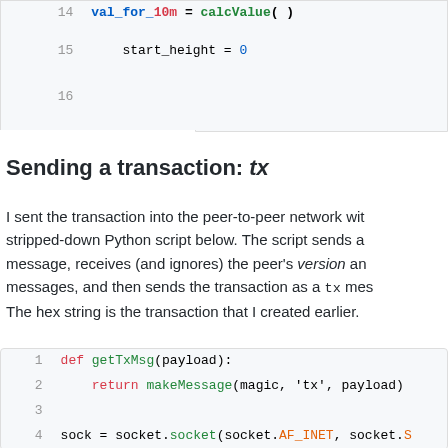[Figure (screenshot): Code block showing lines 14-16 of msgUtils.py with start_height = 0]
msgUtils.py hosted with ♥ by GitHub
Sending a transaction: tx
I sent the transaction into the peer-to-peer network with the stripped-down Python script below. The script sends a version message, receives (and ignores) the peer's version and verack messages, and then sends the transaction as a tx message. The hex string is the transaction that I created earlier.
[Figure (screenshot): Code block showing Python script lines 1-9: getTxMsg function and socket connection code]